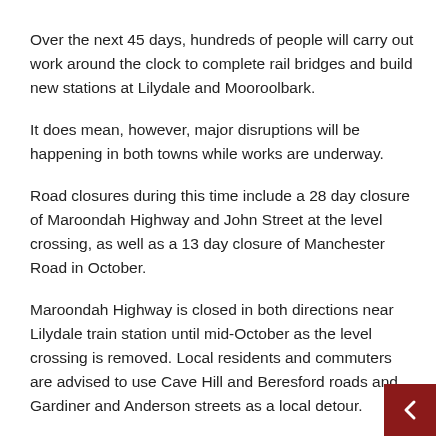Over the next 45 days, hundreds of people will carry out work around the clock to complete rail bridges and build new stations at Lilydale and Mooroolbark.
It does mean, however, major disruptions will be happening in both towns while works are underway.
Road closures during this time include a 28 day closure of Maroondah Highway and John Street at the level crossing, as well as a 13 day closure of Manchester Road in October.
Maroondah Highway is closed in both directions near Lilydale train station until mid-October as the level crossing is removed. Local residents and commuters are advised to use Cave Hill and Beresford roads and Gardiner and Anderson streets as a local detour.